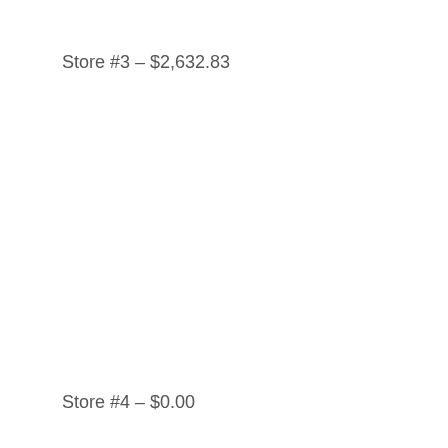Store #3 – $2,632.83
Store #4 – $0.00